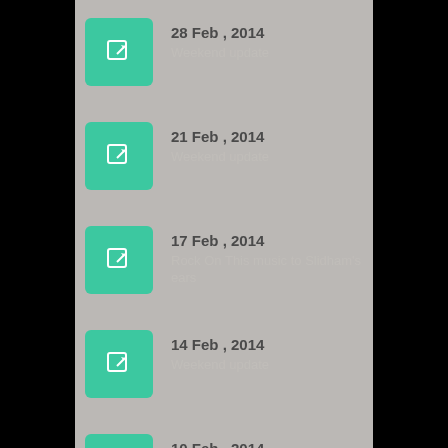28 Feb , 2014
Weekend update
21 Feb , 2014
Weekend update
17 Feb , 2014
Rock On This music to Slidham's ears
14 Feb , 2014
Weekend update
10 Feb , 2014
Every Way to the winner's circle